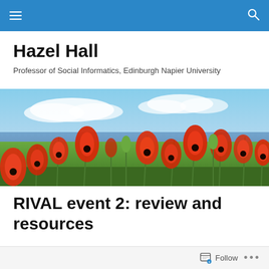Hazel Hall — navigation bar
Hazel Hall
Professor of Social Informatics, Edinburgh Napier University
[Figure (photo): A field of bright red poppies in bloom with green stems, photographed against a blue sky with clouds and a coastal landscape in the background.]
RIVAL event 2: review and resources
Follow